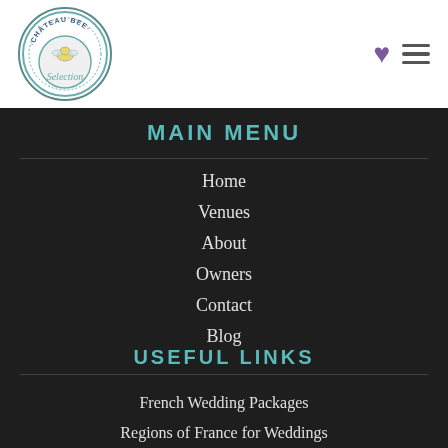[Figure (logo): Chateau Bee Selection circular logo with teal border and script text]
MAIN MENU
Home
Venues
About
Owners
Contact
Blog
USEFUL LINKS
French Wedding Packages
Regions of France for Weddings
South of France Venues